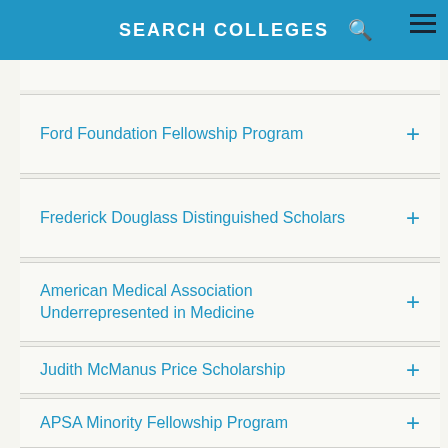SEARCH COLLEGES
Ford Foundation Fellowship Program
Frederick Douglass Distinguished Scholars
American Medical Association Underrepresented in Medicine
Judith McManus Price Scholarship
APSA Minority Fellowship Program